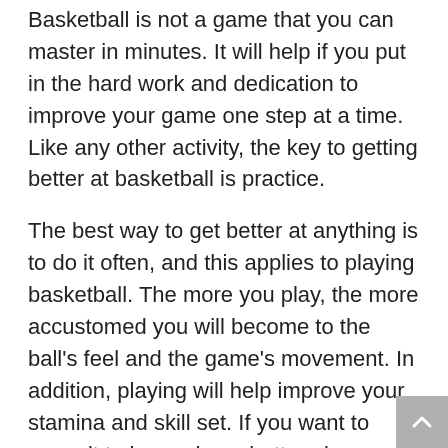Basketball is not a game that you can master in minutes. It will help if you put in the hard work and dedication to improve your game one step at a time. Like any other activity, the key to getting better at basketball is practice.
The best way to get better at anything is to do it often, and this applies to playing basketball. The more you play, the more accustomed you will become to the ball's feel and the game's movement. In addition, playing will help improve your stamina and skill set. If you want to commit to becoming a better player, consider joining a local team